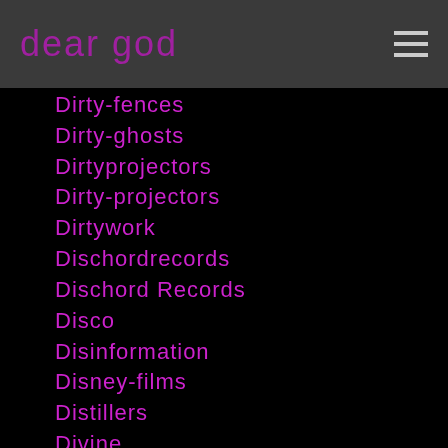dear god
Dirty-fences
Dirty-ghosts
Dirtyprojectors
Dirty-projectors
Dirtywork
Dischordrecords
Dischord Records
Disco
Disinformation
Disney-films
Distillers
Divine
Diyethic
Diy Ethic
Dizzy-gillespie
Djam
Dj-kung-pao